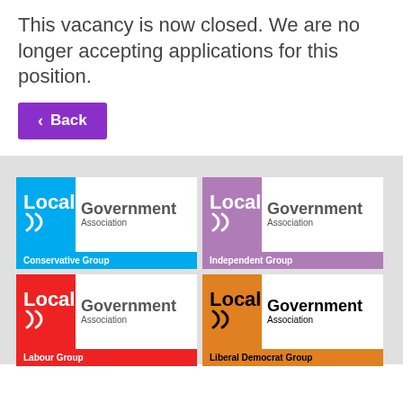This vacancy is now closed. We are no longer accepting applications for this position.
[Figure (logo): Local Government Association Conservative Group logo]
[Figure (logo): Local Government Association Independent Group logo]
[Figure (logo): Local Government Association Labour Group logo]
[Figure (logo): Local Government Association Liberal Democrat Group logo]